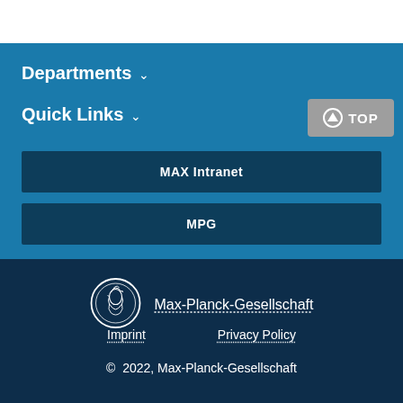Departments ∨
Quick Links ∨
MAX Intranet
MPG
[Figure (logo): Max-Planck-Gesellschaft circular medallion logo with profile portrait, outlined in white on dark blue background]
Max-Planck-Gesellschaft
Imprint
Privacy Policy
© 2022, Max-Planck-Gesellschaft